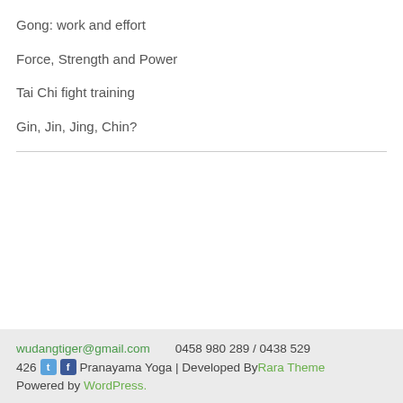Gong: work and effort
Force, Strength and Power
Tai Chi fight training
Gin, Jin, Jing, Chin?
wudangtiger@gmail.com    0458 980 289 / 0438 529 426    [twitter] [facebook] Pranayama Yoga | Developed By Rara Theme Powered by WordPress.